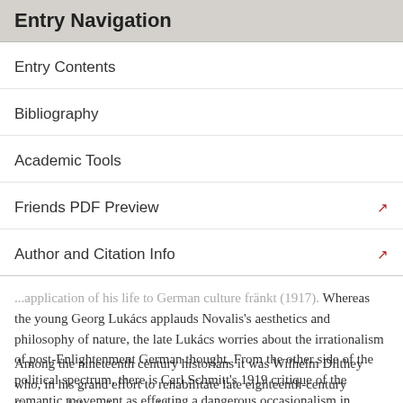Entry Navigation
Entry Contents
Bibliography
Academic Tools
Friends PDF Preview
Author and Citation Info
...application of his life to German culture fränkt (1917). Whereas the young Georg Lukács applauds Novalis's aesthetics and philosophy of nature, the late Lukács worries about the irrationalism of post-Enlightenment German thought. From the other side of the political spectrum, there is Carl Schmitt's 1919 critique of the romantic movement as effecting a dangerous occasionalism in modern political life.
Among the nineteenth century historians it was Wilhelm Dilthey who, in his grand effort to rehabilitate late eighteenth-century German philosophy, was able to see